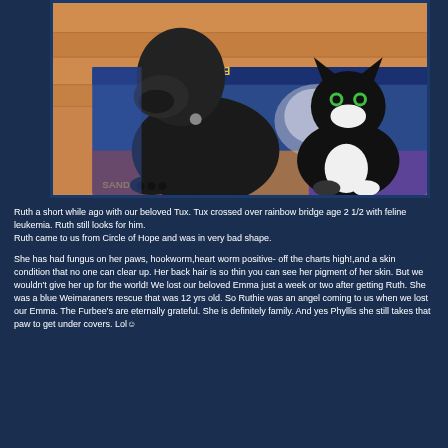[Figure (photo): A black dog and a black-and-white tuxedo cat sitting together on a colorful rug with wooden floor visible in background. The rug has text including 'BITTER' visible.]
Ruth a short while ago with our beloved Tux. Tux crossed over rainbow bridge age 2 1/2 with feline leukemia. Ruth still looks for him.
Ruth came to us from Circle of Hope and was in very bad shape.
She has had fungus on her paws, hookworm,heart worm positive- off the charts high!,and a skin condition that no one can clear up. Her back hair is so thin you can see her pigment of her skin. But we wouldn't give her up for the world! We lost our beloved Emma just a week or two after getting Ruth. She was a blue Weimaraners rescue that was 12 yrs old. So Ruthie was an angel coming to us when we lost our Emma. The Furbee's are eternally grateful. She is definitely family. And yes Phyllis she still takes that paw to get under covers. Lol☺